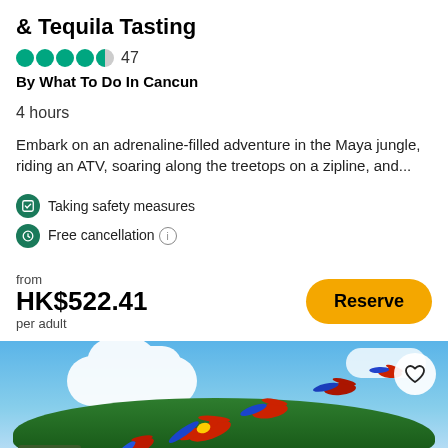& Tequila Tasting
47
By What To Do In Cancun
4 hours
Embark on an adrenaline-filled adventure in the Maya jungle, riding an ATV, soaring along the treetops on a zipline, and...
Taking safety measures
Free cancellation
from
HK$522.41
per adult
[Figure (photo): Tropical island with lush green jungle and colorful macaw parrots flying over turquoise water, blue sky with clouds in background]